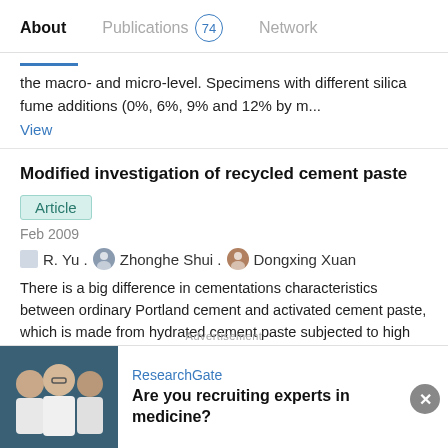About   Publications 74   Network
the macro- and micro-level. Specimens with different silica fume additions (0%, 6%, 9% and 12% by m...
View
Modified investigation of recycled cement paste
Article
Feb 2009
R. Yu . Zhonghe Shui . Dongxing Xuan
There is a big difference in cementations characteristics between ordinary Portland cement and activated cement paste, which is made from hydrated cement paste subjected to high temperatures. In order to change its cementations
[Figure (screenshot): Advertisement banner from ResearchGate showing a photo of people in lab coats with text 'Are you recruiting experts in medicine?']